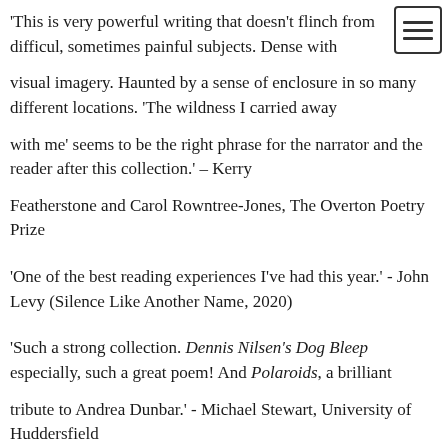'This is very powerful writing that doesn't flinch from difficult, sometimes painful subjects. Dense with visual imagery. Haunted by a sense of enclosure in so many different locations. 'The wildness I carried away with me' seems to be the right phrase for the narrator and the reader after this collection.' – Kerry Featherstone and Carol Rowntree-Jones, The Overton Poetry Prize
'One of the best reading experiences I've had this year.' - John Levy (Silence Like Another Name, 2020)
'Such a strong collection. Dennis Nilsen's Dog Bleep especially, such a great poem! And Polaroids, a brilliant tribute to Andrea Dunbar.' - Michael Stewart, University of Huddersfield